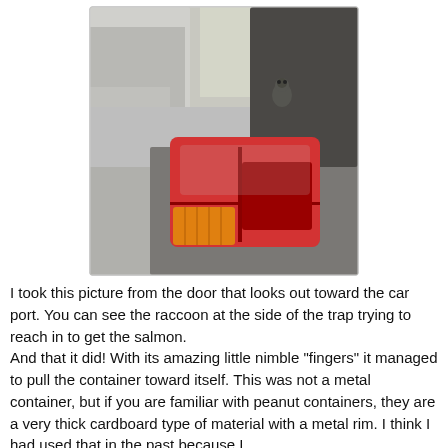[Figure (photo): Close-up photo of the rear tail light of a gray/brown car with red and orange lens. A raccoon is visible in the background near another vehicle in a carport/parking area.]
I took this picture from the door that looks out toward the car port. You can see the raccoon at the side of the trap trying to reach in to get the salmon.
And that it did! With its amazing little nimble "fingers" it managed to pull the container toward itself. This was not a metal container, but if you are familiar with peanut containers, they are a very thick cardboard type of material with a metal rim. I think I had used that in the past because I